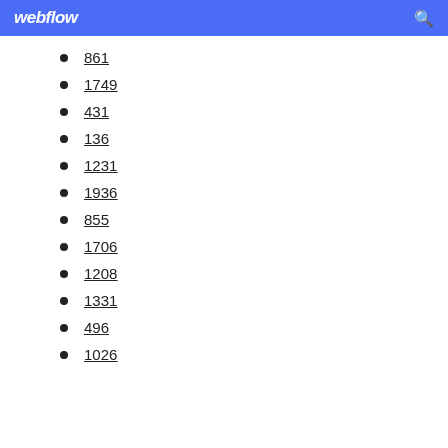webflow
861
1749
431
136
1231
1936
855
1706
1208
1331
496
1026